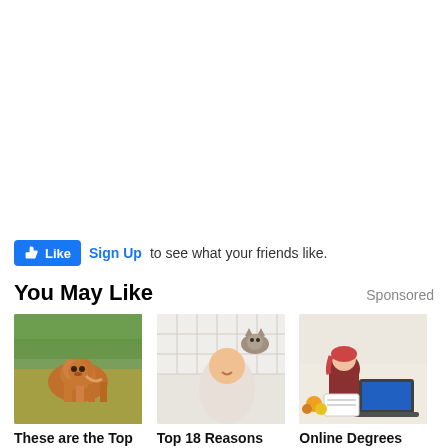[Figure (other): White empty space / advertisement area at top of page]
Like  Sign Up to see what your friends like.
You May Like
Sponsored
[Figure (photo): A brown and white pit bull dog running on grass in a field]
These are the Top
[Figure (photo): A man smiling at the camera in a bathroom while a cat sits on his shoulder near a mirror]
Top 18 Reasons
[Figure (photo): A woman with red hair writing in a notebook next to a laptop in a kitchen with fruits on the table]
Online Degrees